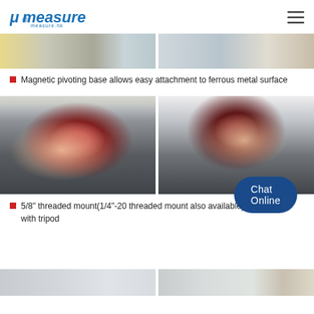μMeasure measure.hk
[Figure (photo): Two cropped product photos showing laser level device from different angles, top strip]
Magnetic pivoting base allows easy attachment to ferrous metal surface
[Figure (photo): Two photos showing hands holding a red and black laser level device mounted on a tripod base, front and back views]
5/8" threaded mount(1/4"-20 threaded mount also available) allow use with tripod
[Figure (photo): Chat Online button overlay, blue pill-shaped button]
[Figure (photo): Two cropped product photos at bottom strip]